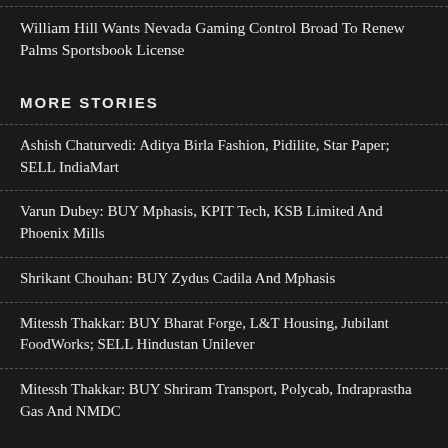William Hill Wants Nevada Gaming Control Broad To Renew Palms Sportsbook License
MORE STORIES
Ashish Chaturvedi: Aditya Birla Fashion, Pidilite, Star Paper; SELL IndiaMart
Varun Dubey: BUY Mphasis, KPIT Tech, KSB Limited And Phoenix Mills
Shrikant Chouhan: BUY Zydus Cadila And Mphasis
Mitessh Thakkar: BUY Bharat Forge, L&T Housing, Jubilant FoodWorks; SELL Hindustan Unilever
Mitessh Thakkar: BUY Shriram Transport, Polycab, Indraprastha Gas And NMDC